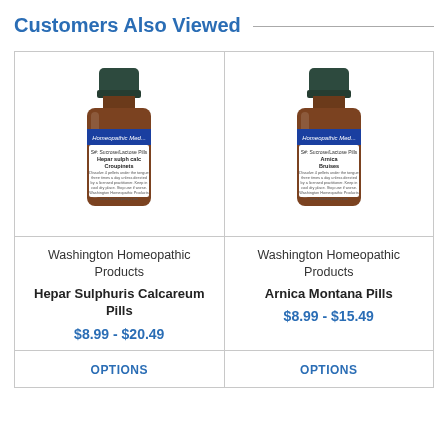Customers Also Viewed
[Figure (photo): Brown homeopathic medicine bottle with dark green lid and white label reading 'Hepar sulph calc Croupinets']
Washington Homeopathic Products
Hepar Sulphuris Calcareum Pills
$8.99 - $20.49
OPTIONS
[Figure (photo): Brown homeopathic medicine bottle with dark green lid and white label reading 'Arnica Bruises']
Washington Homeopathic Products
Arnica Montana Pills
$8.99 - $15.49
OPTIONS